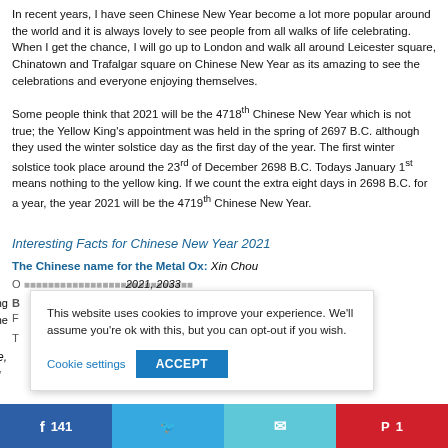In recent years, I have seen Chinese New Year become a lot more popular around the world and it is always lovely to see people from all walks of life celebrating. When I get the chance, I will go up to London and walk all around Leicester square, Chinatown and Trafalgar square on Chinese New Year as its amazing to see the celebrations and everyone enjoying themselves.
Some people think that 2021 will be the 4718th Chinese New Year which is not true; the Yellow King's appointment was held in the spring of 2697 B.C. although they used the winter solstice day as the first day of the year. The first winter solstice took place around the 23rd of December 2698 B.C. Todays January 1st means nothing to the yellow king. If we count the extra eight days in 2698 B.C. for a year, the year 2021 will be the 4719th Chinese New Year.
Interesting Facts for Chinese New Year 2021
The Chinese name for the Metal Ox: Xin Chou
Other years of the Metal Ox: 2021, 2033
Best match for the Metal Ox: Working with the land,
Traits: ...ined, reliable, faithful
This website uses cookies to improve your experience. We'll assume you're ok with this, but you can opt-out if you wish.
Facebook 141
Twitter
Email
Pinterest 1